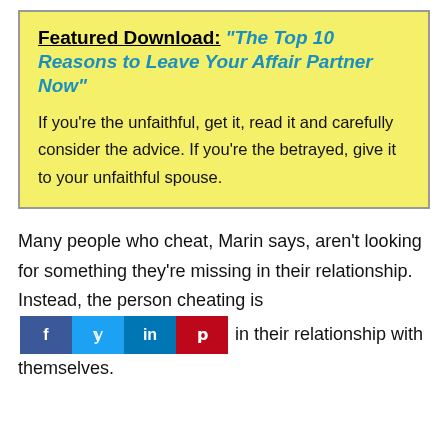Featured Download: "The Top 10 Reasons to Leave Your Affair Partner Now"
If you're the unfaithful, get it, read it and carefully consider the advice. If you're the betrayed, give it to your unfaithful spouse.
Many people who cheat, Marin says, aren't looking for something they're missing in their relationship. Instead, the person cheating is [social buttons] in their relationship with themselves.